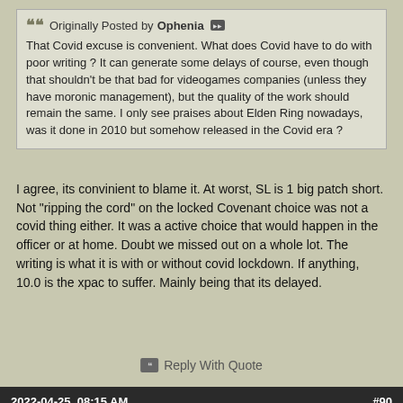Originally Posted by Ophenia [forward icon]
That Covid excuse is convenient. What does Covid have to do with poor writing ? It can generate some delays of course, even though that shouldn't be that bad for videogames companies (unless they have moronic management), but the quality of the work should remain the same. I only see praises about Elden Ring nowadays, was it done in 2010 but somehow released in the Covid era ?
I agree, its convinient to blame it. At worst, SL is 1 big patch short. Not "ripping the cord" on the locked Covenant choice was not a covid thing either. It was a active choice that would happen in the officer or at home. Doubt we missed out on a whole lot. The writing is what it is with or without covid lockdown. If anything, 10.0 is the xpac to suffer. Mainly being that its delayed.
Reply With Quote
2022-04-25, 08:15 AM    #90
owbu  The Lightbringer